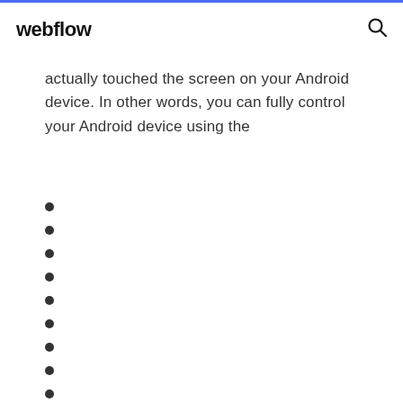webflow
actually touched the screen on your Android device. In other words, you can fully control your Android device using the